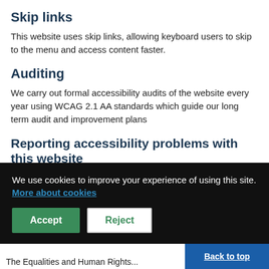Skip links
This website uses skip links, allowing keyboard users to skip to the menu and access content faster.
Auditing
We carry out formal accessibility audits of the website every year using WCAG 2.1 AA standards which guide our long term audit and improvement plans
Reporting accessibility problems with this website
We're always looking to improve the accessibility of this website. If you find
We use cookies to improve your experience of using this site. More about cookies
The Equalities and Human Rights...
Back to top